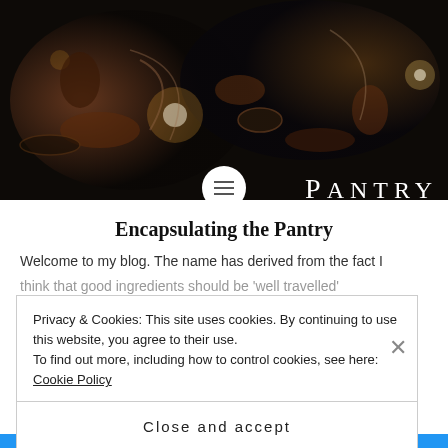[Figure (photo): Dark overhead food photography background with candles, spices, vegetables, and various ingredients on a dark table surface. 'PANTRY' text overlay on the right side in white serif letters.]
Encapsulating the Pantry
Welcome to my blog. The name has derived from the fact I think that good ingredients should be 'well travelled'
Privacy & Cookies: This site uses cookies. By continuing to use this website, you agree to their use.
To find out more, including how to control cookies, see here: Cookie Policy
Close and accept